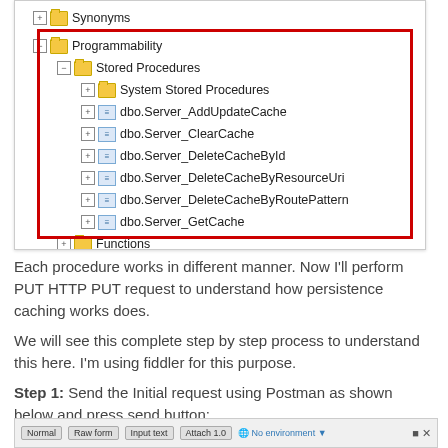[Figure (screenshot): SQL Server Management Studio object explorer tree showing Programmability > Stored Procedures with dbo.Server_AddUpdateCache, dbo.Server_ClearCache, dbo.Server_DeleteCacheById, dbo.Server_DeleteCacheByResourceUri, dbo.Server_DeleteCacheByRoutePattern, dbo.Server_GetCache. The Programmability section is highlighted with a red rectangle border.]
Each procedure works in different manner. Now I'll perform PUT HTTP PUT request to understand how persistence caching works does.
We will see this complete step by step process to understand this here. I'm using fiddler for this purpose.
Step 1: Send the Initial request using Postman as shown below and press send button:
[Figure (screenshot): Partial screenshot of Postman or Fiddler interface showing toolbar with buttons: Normal, Raw form, Input text, Attach 1.0, No environment, and icons on the right.]